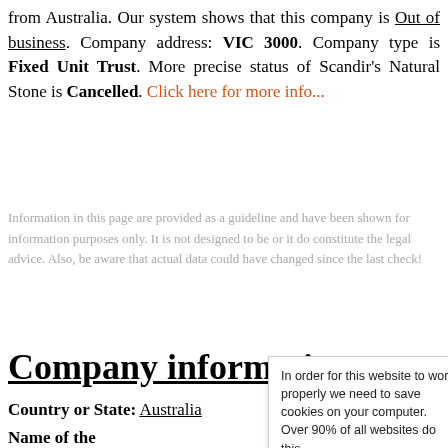from Australia. Our system shows that this company is Out of business. Company address: VIC 3000. Company type is Fixed Unit Trust. More precise status of Scandir's Natural Stone is Cancelled. Click here for more info...
Information in this page are provided as a guideline and have been shown for information purposes only. It is not designed to be or it do constitute the legal advice. Also, be aware that actual data could have changed since the last check!
Company information
Country or State: Australia
Name of the
In order for this website to work properly we need to save cookies on your computer. Over 90% of all websites do this. That's fine! About cookies